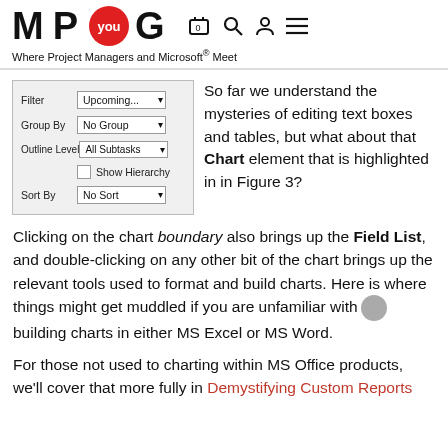M P you G — Where Project Managers and Microsoft® Meet
[Figure (screenshot): Filter dialog screenshot showing Filter: Upcoming..., Group By: No Group, Outline Level: All Subtasks, Show Hierarchy checkbox, Sort By: No Sort]
So far we understand the mysteries of editing text boxes and tables, but what about that Chart element that is highlighted in in Figure 3?
Clicking on the chart boundary also brings up the Field List, and double-clicking on any other bit of the chart brings up the relevant tools used to format and build charts. Here is where things might get muddled if you are unfamiliar with building charts in either MS Excel or MS Word.
For those not used to charting within MS Office products, we'll cover that more fully in Demystifying Custom Reports